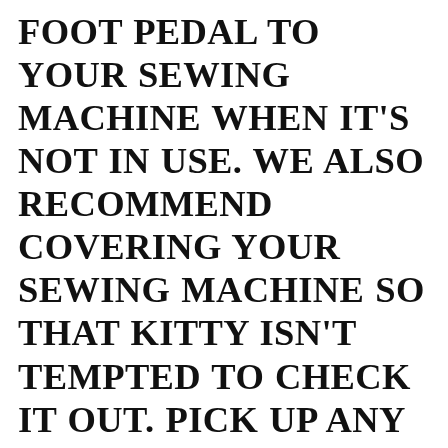FOOT PEDAL TO YOUR SEWING MACHINE WHEN IT'S NOT IN USE. WE ALSO RECOMMEND COVERING YOUR SEWING MACHINE SO THAT KITTY ISN'T TEMPTED TO CHECK IT OUT. PICK UP ANY ERRANT PIECES OF THREAD AND THROW THEM OUT. CRAFTERS, NEVER LEAVE A HOT GLUE GUN UNATTENDED AND PUT YOUR SUPPLIES AWAY IN A CLOSED CONTAINER WHEN FINISHED OR TAKING A